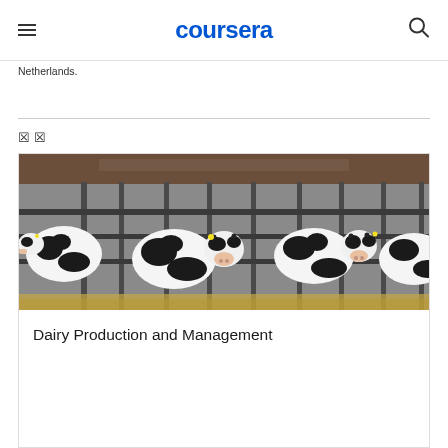coursera
Netherlands.
🔲 🔲
[Figure (photo): Photo of Holstein dairy cows in a barn standing behind metal feeding rails]
Dairy Production and Management